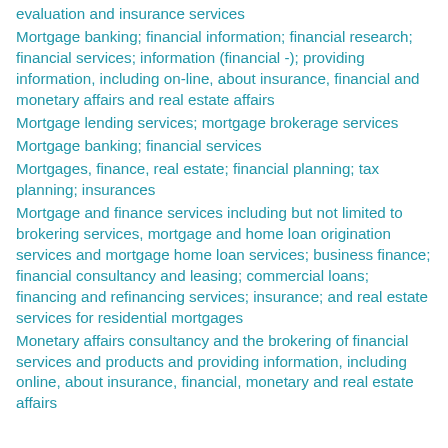evaluation and insurance services
Mortgage banking; financial information; financial research; financial services; information (financial -); providing information, including on-line, about insurance, financial and monetary affairs and real estate affairs
Mortgage lending services; mortgage brokerage services
Mortgage banking; financial services
Mortgages, finance, real estate; financial planning; tax planning; insurances
Mortgage and finance services including but not limited to brokering services, mortgage and home loan origination services and mortgage home loan services; business finance; financial consultancy and leasing; commercial loans; financing and refinancing services; insurance; and real estate services for residential mortgages
Monetary affairs consultancy and the brokering of financial services and products and providing information, including online, about insurance, financial, monetary and real estate affairs